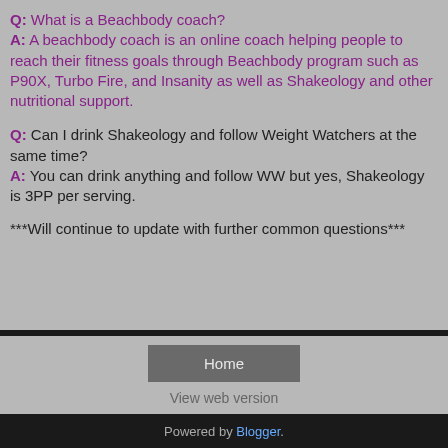Q: What is a Beachbody coach? A: A beachbody coach is an online coach helping people to reach their fitness goals through Beachbody program such as P90X, Turbo Fire, and Insanity as well as Shakeology and other nutritional support.
Q: Can I drink Shakeology and follow Weight Watchers at the same time? A: You can drink anything and follow WW but yes, Shakeology is 3PP per serving.
***Will continue to update with further common questions***
Home
View web version
Powered by Blogger.